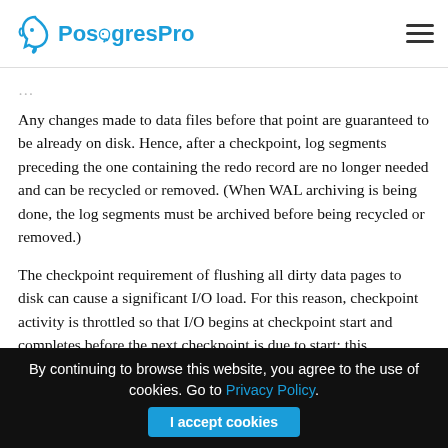PostgresPro
Any changes made to data files before that point are guaranteed to be already on disk. Hence, after a checkpoint, log segments preceding the one containing the redo record are no longer needed and can be recycled or removed. (When WAL archiving is being done, the log segments must be archived before being recycled or removed.)
The checkpoint requirement of flushing all dirty data pages to disk can cause a significant I/O load. For this reason, checkpoint activity is throttled so that I/O begins at checkpoint start and completes before the next checkpoint is due to start; this minimizes performance degradation during checkpoints.
By continuing to browse this website, you agree to the use of cookies. Go to Privacy Policy. I accept cookies